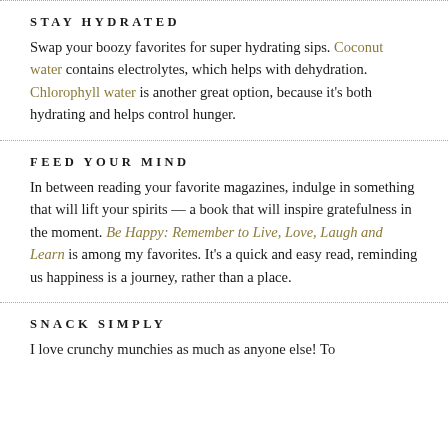STAY HYDRATED
Swap your boozy favorites for super hydrating sips. Coconut water contains electrolytes, which helps with dehydration. Chlorophyll water is another great option, because it’s both hydrating and helps control hunger.
FEED YOUR MIND
In between reading your favorite magazines, indulge in something that will lift your spirits — a book that will inspire gratefulness in the moment. Be Happy: Remember to Live, Love, Laugh and Learn is among my favorites. It’s a quick and easy read, reminding us happiness is a journey, rather than a place.
SNACK SIMPLY
I love crunchy munchies as much as anyone else! To